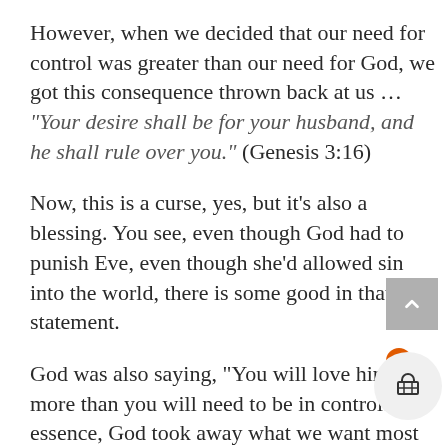However, when we decided that our need for control was greater than our need for God, we got this consequence thrown back at us ... “Your desire shall be for your husband, and he shall rule over you.” (Genesis 3:16)
Now, this is a curse, yes, but it’s also a blessing. You see, even though God had to punish Eve, even though she’d allowed sin into the world, there is some good in that statement.
God was also saying, “You will love him more than you will need to be in control.” In essence, God took away what we want most but gave us the desire to want something more than what we want most.
When God Plans, begi...